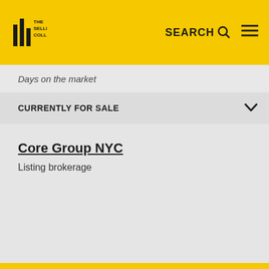The Seller's Collective — SEARCH ☰
Days on the market
CURRENTLY FOR SALE
Core Group NYC
Listing brokerage